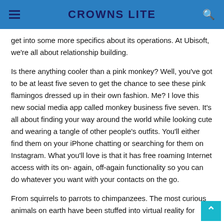CROWNS LITE
get into some more specifics about its operations. At Ubisoft, we're all about relationship building.
Is there anything cooler than a pink monkey? Well, you've got to be at least five seven to get the chance to see these pink flamingos dressed up in their own fashion. Me? I love this new social media app called monkey business five seven. It's all about finding your way around the world while looking cute and wearing a tangle of other people's outfits. You'll either find them on your iPhone chatting or searching for them on Instagram. What you'll love is that it has free roaming Internet access with its on- again, off-again functionality so you can do whatever you want with your contacts on the go.
From squirrels to parrots to chimpanzees. The most curious animals on earth have been stuffed into virtual reality for